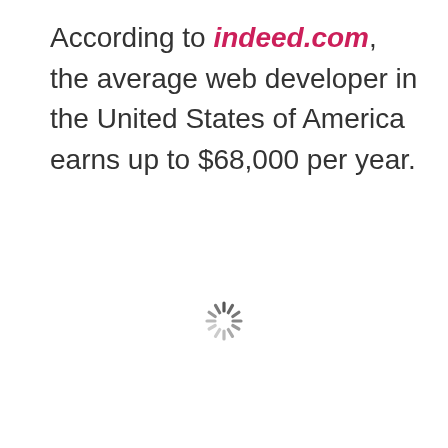According to indeed.com, the average web developer in the United States of America earns up to $68,000 per year.
[Figure (other): A loading spinner (circular dashed ring animation indicator) centered on the page]